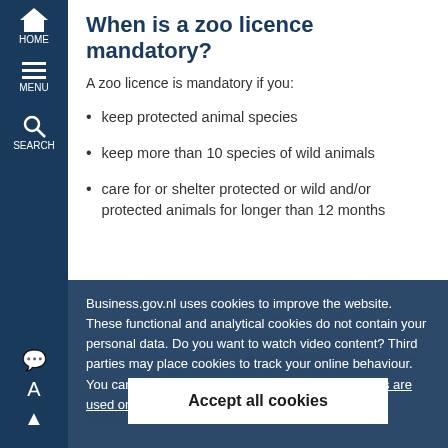When is a zoo licence mandatory?
A zoo licence is mandatory if you:
keep protected animal species
keep more than 10 species of wild animals
care for or shelter protected or wild and/or protected animals for longer than 12 months
Business.gov.nl uses cookies to improve the website. These functional and analytical cookies do not contain your personal data. Do you want to watch video content? Third parties may place cookies to track your online behaviour. You can turn off these tracking cookies. How cookies are used on Business.gov.nl.
Accept all cookies